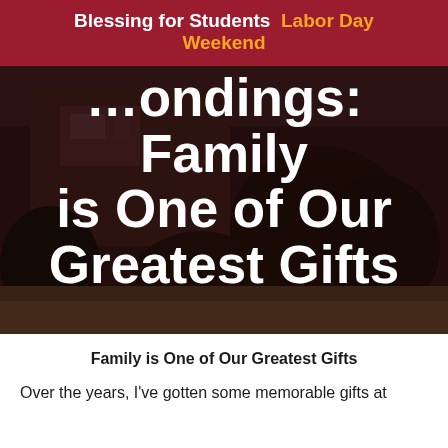Blessing for Students  Labor Day Weekend
[Figure (photo): Dark background photo of a building exterior with trees, overlaid with large white bold text reading '...ondings: Family is One of Our Greatest Gifts']
Family is One of Our Greatest Gifts
Over the years, I've gotten some memorable gifts at